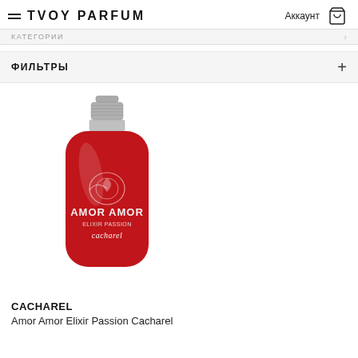TVOY PARFUM  Аккаунт [cart]
КАТЕГОРИИ
ФИЛЬТРЫ +
[Figure (photo): Red perfume bottle of Cacharel Amor Amor Elixir Passion with silver cap and rose illustration on label]
CACHAREL
Amor Amor Elixir Passion Cacharel